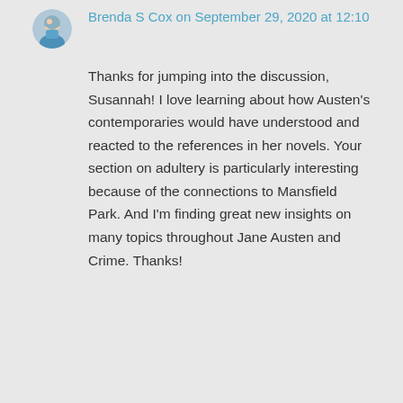Brenda S Cox on September 29, 2020 at 12:10
Thanks for jumping into the discussion, Susannah! I love learning about how Austen's contemporaries would have understood and reacted to the references in her novels. Your section on adultery is particularly interesting because of the connections to Mansfield Park. And I'm finding great new insights on many topics throughout Jane Austen and Crime. Thanks!